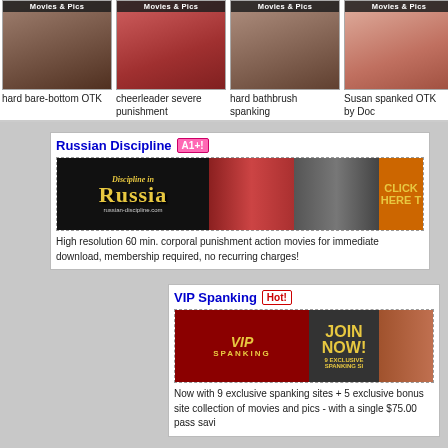[Figure (photo): Four thumbnail images of adult content with labels: hard bare-bottom OTK, cheerleader severe punishment, hard bathbrush spanking, Susan spanked OTK by Doc]
hard bare-bottom OTK
cheerleader severe punishment
hard bathbrush spanking
Susan spanked OTK by Doc
Russian Discipline A1+!
[Figure (screenshot): Russian Discipline banner ad showing Discipline in Russia logo with corporal punishment images and CLICK HERE text]
High resolution 60 min. corporal punishment action movies for immediate download, membership required, no recurring charges!
VIP Spanking Hot!
[Figure (screenshot): VIP Spanking banner ad showing VIP SPANKING logo, JOIN NOW!, and 9 EXCLUSIVE SPANKING SITES text]
Now with 9 exclusive spanking sites + 5 exclusive bonus sites collection of movies and pics - with a single $75.00 pass saving